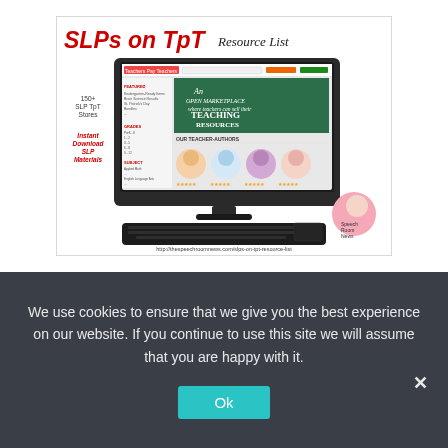[Figure (screenshot): Promotional image showing 'SLPs on TpT Resource List' with a computer monitor displaying the Teachers Pay Teachers website. Left side text reads '150+ SLP TpT Stores' and 'Instant Download SLP Materials'. URL at bottom: http://thespeechroomnews.com/slps-on-tpt-resource-list]
We use cookies to ensure that we give you the best experience on our website. If you continue to use this site we will assume that you are happy with it.
Ok